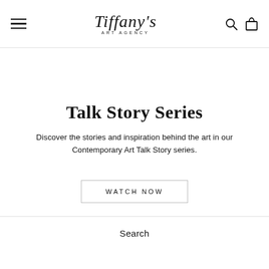Tiffany's Art Agency
Talk Story Series
Discover the stories and inspiration behind the art in our Contemporary Art Talk Story series.
WATCH NOW
Search